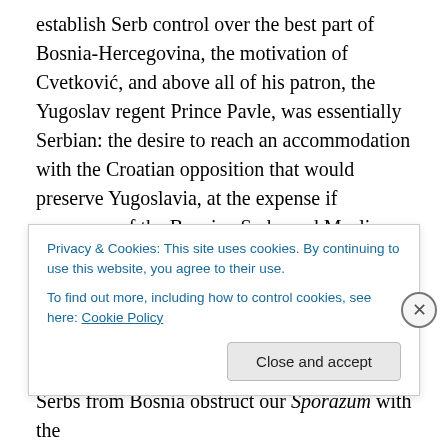establish Serb control over the best part of Bosnia-Hercegovina, the motivation of Cvetković, and above all of his patron, the Yugoslav regent Prince Pavle, was essentially Serbian: the desire to reach an accommodation with the Croatian opposition that would preserve Yugoslavia, at the expense if necessary of the Bosnian Serbs and Muslims. According to the recollections of Branko Miljuš, who had been Minister without Portfolio under Cvetković, the latter responded to his objections to the Sporazum with the question: 'How much longer will you Serbs from Bosnia obstruct our Sporazum with the
Privacy & Cookies: This site uses cookies. By continuing to use this website, you agree to their use.
To find out more, including how to control cookies, see here: Cookie Policy